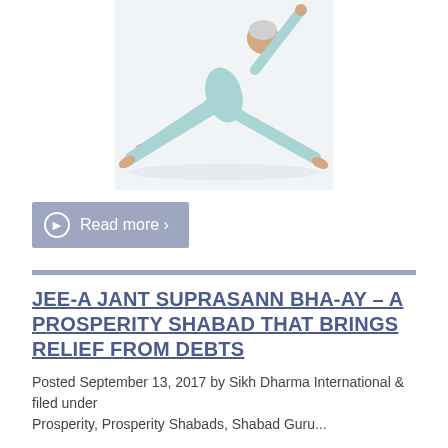[Figure (photo): Elderly woman in light blue outfit performing a yoga side split pose with one arm raised, on a white background]
Read more ›
JEE-A JANT SUPRASANN BHA-AY – A PROSPERITY SHABAD THAT BRINGS RELIEF FROM DEBTS
Posted September 13, 2017 by Sikh Dharma International & filed under Prosperity, Prosperity Shabads, Shabad Guru...